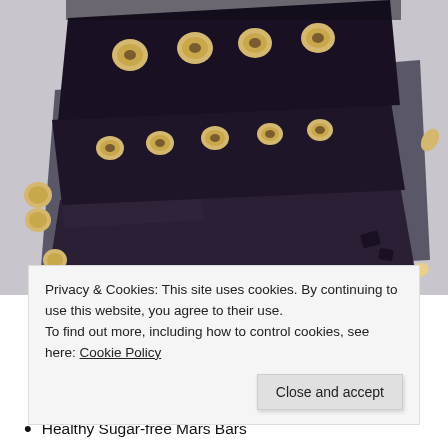[Figure (photo): Overhead view of dark chocolate bars topped with hazelnuts and nuts on a dark slate board, with scattered hazelnuts and chocolate pieces around, against a light grey background.]
Privacy & Cookies: This site uses cookies. By continuing to use this website, you agree to their use.
To find out more, including how to control cookies, see here: Cookie Policy
Close and accept
Healthy Sugar-free Mars Bars